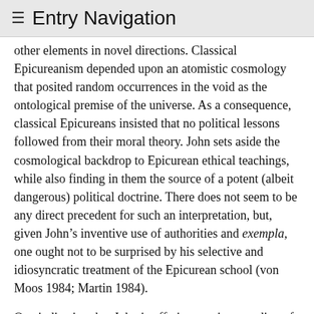≡ Entry Navigation
other elements in novel directions. Classical Epicureanism depended upon an atomistic cosmology that posited random occurrences in the void as the ontological premise of the universe. As a consequence, classical Epicureans insisted that no political lessons followed from their moral theory. John sets aside the cosmological backdrop to Epicurean ethical teachings, while also finding in them the source of a potent (albeit dangerous) political doctrine. There does not seem to be any direct precedent for such an interpretation, but, given John's inventive use of authorities and exempla, one ought not to be surprised by his selective and idiosyncratic treatment of the Epicurean school (von Moos 1984; Martin 1984).
One indication that John is offering a unique reading of the Epicurean tradition emerges from his claim that the ideas of Epicurus himself are not to be mainly disdained, but that his followers should be blamed for turning his ethics into a form of untrammeled hedonism. Deviating from his ancient and patristic sources, John detaches